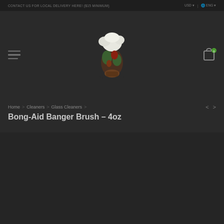CONTACT US FOR LOCAL DELIVERY HERE! ($15 MINIMUM)  USD ▾  🌐 ENG ▾
[Figure (photo): Logo or product image showing a colorful painted glass piece resembling a cartoon character, with white, green, brown and red colors, on dark background]
Home > Cleaners > Glass Cleaners >
Bong-Aid Banger Brush – 4oz